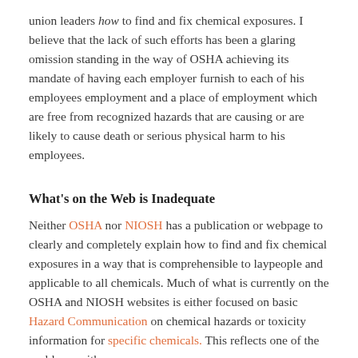union leaders how to find and fix chemical exposures. I believe that the lack of such efforts has been a glaring omission standing in the way of OSHA achieving its mandate of having each employer furnish to each of his employees employment and a place of employment which are free from recognized hazards that are causing or are likely to cause death or serious physical harm to his employees.
What's on the Web is Inadequate
Neither OSHA nor NIOSH has a publication or webpage to clearly and completely explain how to find and fix chemical exposures in a way that is comprehensible to laypeople and applicable to all chemicals. Much of what is currently on the OSHA and NIOSH websites is either focused on basic Hazard Communication on chemical hazards or toxicity information for specific chemicals. This reflects one of the problems with